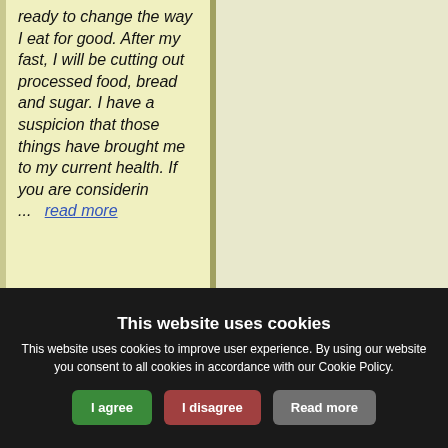ready to change the way I eat for good. After my fast, I will be cutting out processed food, bread and sugar. I have a suspicion that those things have brought me to my current health. If you are considerin ... read more
This website uses cookies
This website uses cookies to improve user experience. By using our website you consent to all cookies in accordance with our Cookie Policy.